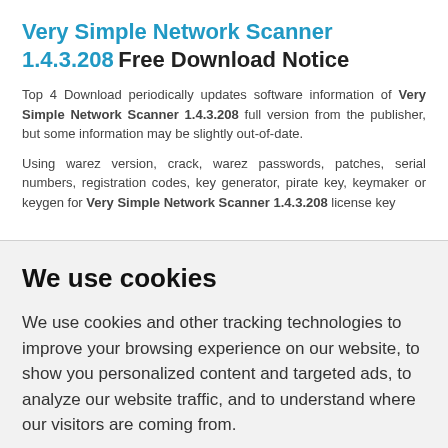Very Simple Network Scanner 1.4.3.208 Free Download Notice
Top 4 Download periodically updates software information of Very Simple Network Scanner 1.4.3.208 full version from the publisher, but some information may be slightly out-of-date.
Using warez version, crack, warez passwords, patches, serial numbers, registration codes, key generator, pirate key, keymaker or keygen for Very Simple Network Scanner 1.4.3.208 license key
We use cookies
We use cookies and other tracking technologies to improve your browsing experience on our website, to show you personalized content and targeted ads, to analyze our website traffic, and to understand where our visitors are coming from.